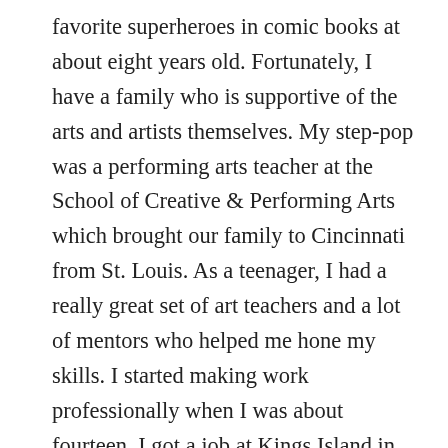favorite superheroes in comic books at about eight years old. Fortunately, I have a family who is supportive of the arts and artists themselves. My step-pop was a performing arts teacher at the School of Creative & Performing Arts which brought our family to Cincinnati from St. Louis. As a teenager, I had a really great set of art teachers and a lot of mentors who helped me hone my skills. I started making work professionally when I was about fourteen. I got a job at Kings Island in Cincinnati as a caricature artist, and I honed my skills throughout high school working long hours. I wanted to be an animator, but really